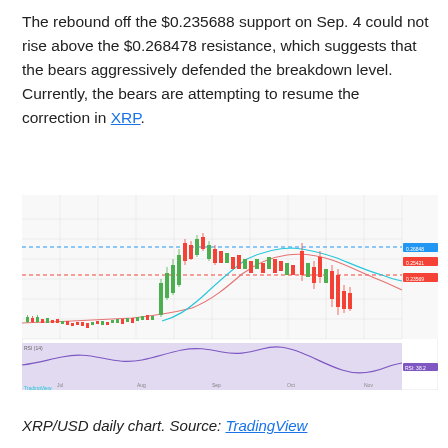The rebound off the $0.235688 support on Sep. 4 could not rise above the $0.268478 resistance, which suggests that the bears aggressively defended the breakdown level. Currently, the bears are attempting to resume the correction in XRP.
[Figure (continuous-plot): XRP/USD daily candlestick chart from TradingView showing price action with moving averages, horizontal resistance levels at ~$0.268478 (dashed line) and ~$0.235688 (dashed line), candlestick bars in green/red, and an RSI oscillator panel below with a purple shaded region.]
XRP/USD daily chart. Source: TradingView